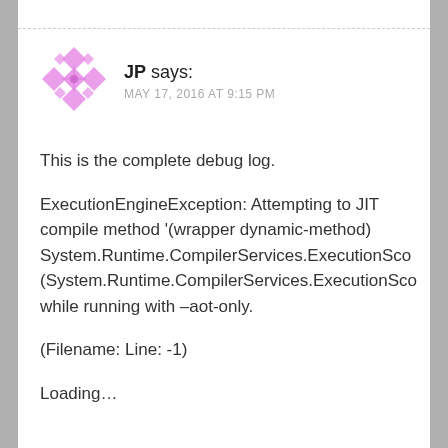JP says: MAY 17, 2016 AT 9:15 PM
This is the complete debug log.
ExecutionEngineException: Attempting to JIT compile method '(wrapper dynamic-method) System.Runtime.CompilerServices.ExecutionScope (System.Runtime.CompilerServices.ExecutionScope while running with –aot-only.
(Filename: Line: -1)
Loading…